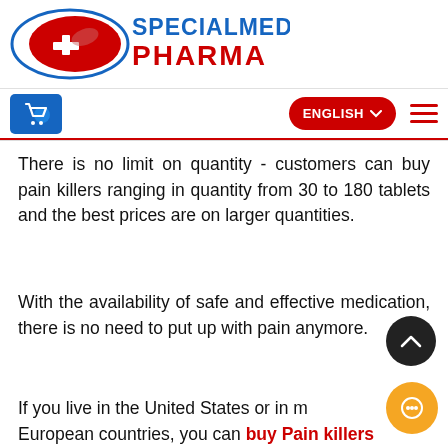[Figure (logo): SpecialMed Pharma logo with red pill graphic and blue/red text]
[Figure (screenshot): Navigation bar with shopping cart icon (blue), ENGLISH dropdown button (red), and hamburger menu (red lines)]
There is no limit on quantity - customers can buy pain killers ranging in quantity from 30 to 180 tablets and the best prices are on larger quantities.
With the availability of safe and effective medication, there is no need to put up with pain anymore.
If you live in the United States or in most European countries, you can buy Pain killers